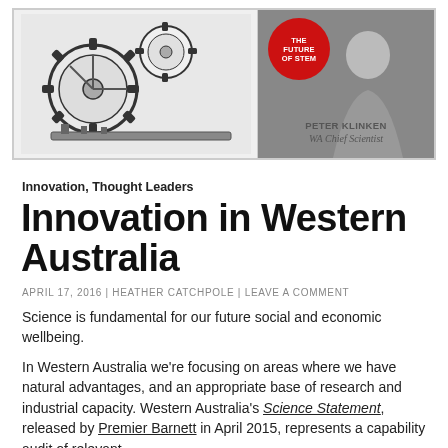[Figure (illustration): Magazine cover image split in two: left side shows a black and white illustration of industrial gears/machinery; right side shows a man in a suit on a dark background with a red circle badge reading 'THE FUTURE OF STEM' and text 'PETER KLINKEN WA Chief Scientist']
Innovation, Thought Leaders
Innovation in Western Australia
APRIL 17, 2016 | HEATHER CATCHPOLE | LEAVE A COMMENT
Science is fundamental for our future social and economic wellbeing.
In Western Australia we're focusing on areas where we have natural advantages, and an appropriate base of research and industrial capacity. Western Australia's Science Statement, released by Premier Barnett in April 2015, represents a capability audit of relevant